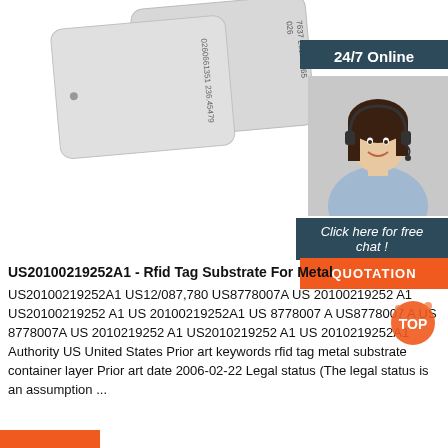[Figure (photo): Two gray RFID card tags with printed serial numbers, shown at an angle on white background. Numbers visible: 0260661351 236.45479 and 026 7637 236.47765]
[Figure (infographic): Customer service representative with headset, with '24/7 Online' dark teal banner at top, 'Click here for free chat!' below image, and orange QUOTATION button]
US20100219252A1 - Rfid Tag Substrate For Metal
US20100219252A1 US12/087,780 US8778007A US 20100219252 A1 US20100219252 A1 US 20100219252A1 US 8778007 A US8778007 A US 8778007A US 2010219252 A1 US2010219252 A1 US 2010219252A1 Authority US United States Prior art keywords rfid tag metal substrate container layer Prior art date 2006-02-22 Legal status (The legal status is an assumption ...